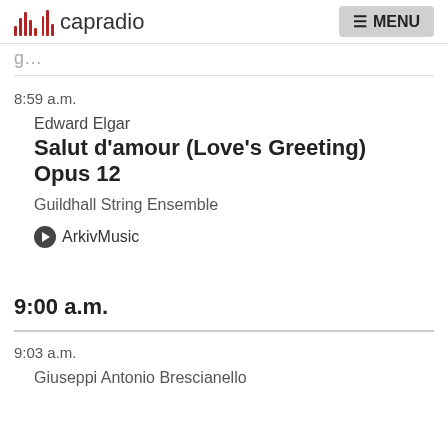capradio  MENU
8:59 a.m.
Edward Elgar
Salut d'amour (Love's Greeting) Opus 12
Guildhall String Ensemble
ArkivMusic
9:00 a.m.
9:03 a.m.
Giuseppi Antonio Brescianello